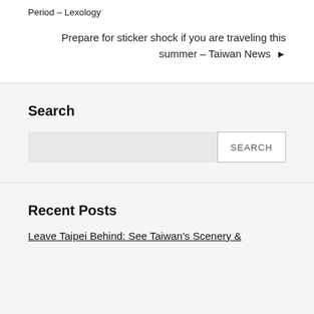Period – Lexology
Prepare for sticker shock if you are traveling this summer – Taiwan News ▶
Search
Recent Posts
Leave Taipei Behind: See Taiwan's Scenery &